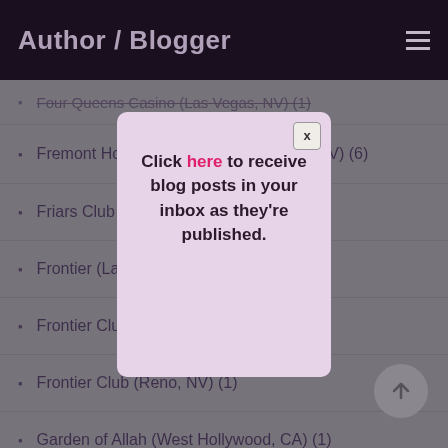Author / Blogger
Four Queens Casino (Las Vegas, NV) (1)
Fremont Hotel and Casino (Las Vegas, NV) (6)
Friars Club (Beverly Hills, CA)
Frontier (Las Vegas, NV)
Frontier Club (Las Vegas, NV)
Frontier Club (Reno, NV) (1)
Garden of Allah (West Hollywood, CA) (1)
Gem (Las Vegas, NV) (1)
Click here to receive blog posts in your inbox as they're published.